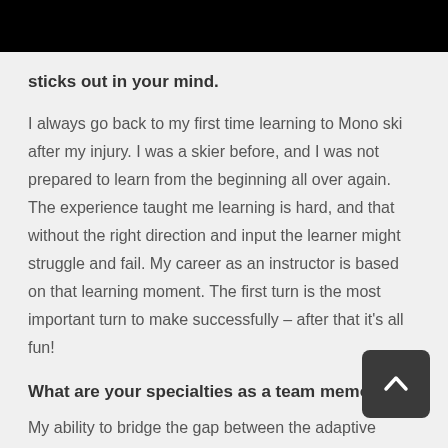sticks out in your mind.
I always go back to my first time learning to Mono ski after my injury. I was a skier before, and I was not prepared to learn from the beginning all over again. The experience taught me learning is hard, and that without the right direction and input the learner might struggle and fail. My career as an instructor is based on that learning moment. The first turn is the most important turn to make successfully – after that it's all fun!
What are your specialties as a team memb…
My ability to bridge the gap between the adaptive…